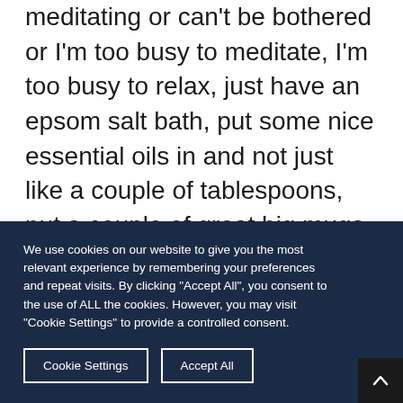meditating or can't be bothered or I'm too busy to meditate, I'm too busy to relax, just have an epsom salt bath, put some nice essential oils in and not just like a couple of tablespoons, put a couple of great big mugs in and just relax in that before bed. And it's amazing. It gives you a much better night's sleep.
We use cookies on our website to give you the most relevant experience by remembering your preferences and repeat visits. By clicking "Accept All", you consent to the use of ALL the cookies. However, you may visit "Cookie Settings" to provide a controlled consent.